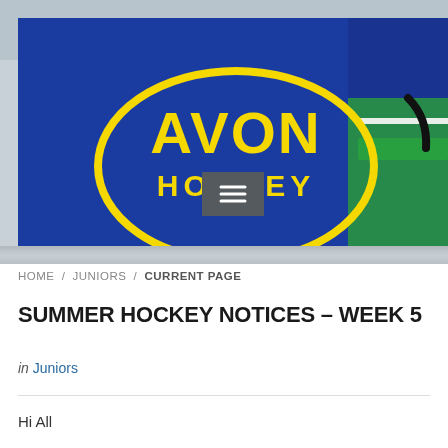[Figure (logo): Avon Hockey logo: yellow oval outline on blue background with text AVON HOCKEY in yellow inside the oval. To the right is a green hockey stick on blue background.]
HOME / JUNIORS / CURRENT PAGE
SUMMER HOCKEY NOTICES – WEEK 5
in Juniors
Hi All